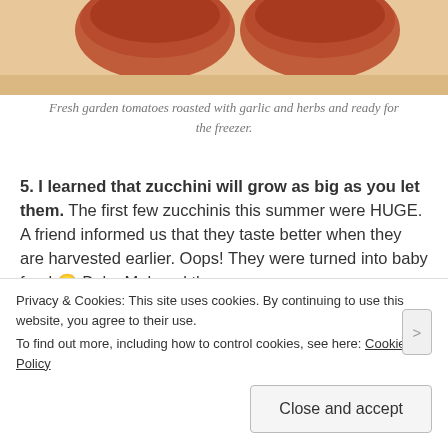[Figure (photo): Top portion of a photo showing roasted tomatoes in bowls on a light wooden surface]
Fresh garden tomatoes roasted with garlic and herbs and ready for the freezer.
5. I learned that zucchini will grow as big as you let them. The first few zucchinis this summer were HUGE. A friend informed us that they taste better when they are harvested earlier. Oops! They were turned into baby food 🙂 Baby M. loved them.
[Figure (photo): Bottom portion of a photo showing a child in a kitchen with wooden cabinets]
Privacy & Cookies: This site uses cookies. By continuing to use this website, you agree to their use.
To find out more, including how to control cookies, see here: Cookie Policy